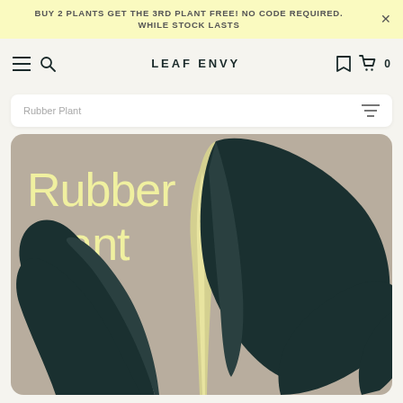BUY 2 PLANTS GET THE 3RD PLANT FREE! NO CODE REQUIRED. WHILE STOCK LASTS
LEAF ENVY
Rubber Plant
[Figure (illustration): Rubber Plant product hero image with large dark teal leaves on a warm taupe/beige background, with 'Rubber Plant' text in light yellow overlaid on the top left]